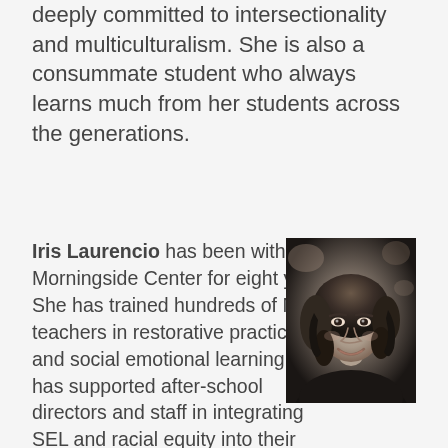deeply committed to intersectionality and multiculturalism. She is also a consummate student who always learns much from her students across the generations.
Iris Laurencio has been with Morningside Center for eight years. She has trained hundreds of NYC teachers in restorative practices and social emotional learning and has supported after-school directors and staff in integrating SEL and racial equity into their programs. She has also led dozens of workshops for teachers and guardians, helping them engage in brave conversations about race and
[Figure (photo): Black and white portrait photo of Iris Laurencio, a woman with curly hair, smiling, wearing a dark top.]